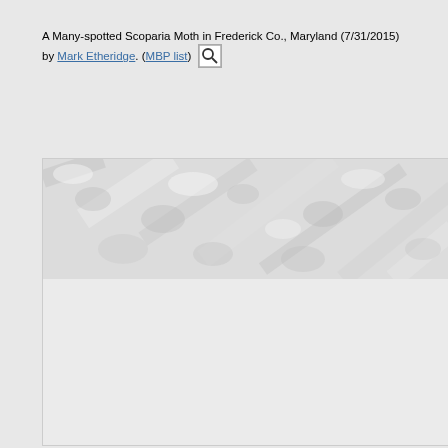A Many-spotted Scoparia Moth in Frederick Co., Maryland (7/31/2015) by Mark Etheridge. (MBP list)
[Figure (photo): Close-up photograph of a Many-spotted Scoparia Moth, showing detailed wing texture pattern. The upper portion shows the moth's wings with intricate spotted/mottled pattern in gray and white tones. The lower portion of the image is mostly blank/light gray, suggesting the photo is partially loaded or cropped.]